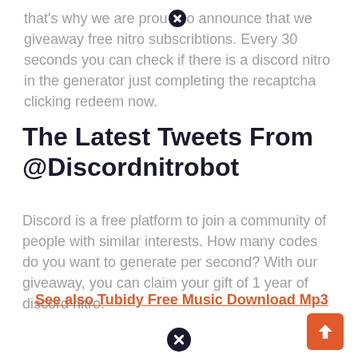that's why we are proud to announce that we giveaway free nitro subscribtions. Every 30 seconds you can check if there is a discord nitro in the generator just completing the recaptcha clicking redeem now.
The Latest Tweets From @Discordnitrobot
Discord is a free platform to join a community of people with similar interests. How many codes do you want to generate per second? With our giveaway, you can claim your gift of 1 year of discord nitro.
See also  Tubidy Free Music Download Mp3